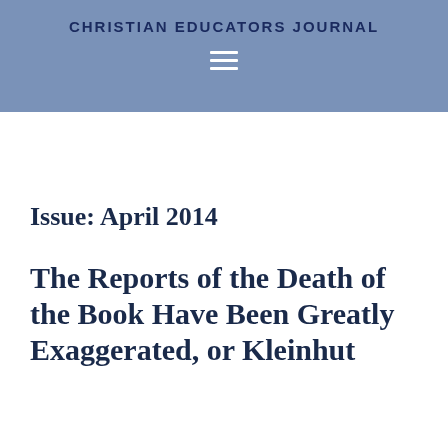CHRISTIAN EDUCATORS JOURNAL
Issue: April 2014
The Reports of the Death of the Book Have Been Greatly Exaggerated, or Kleinhut